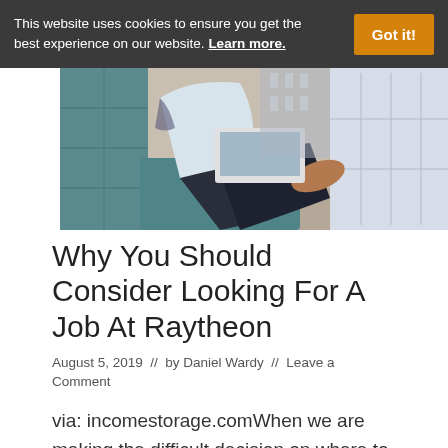This website uses cookies to ensure you get the best experience on our website. Learn more.
[Figure (photo): Person sitting in a teal/blue chair working on a laptop with legs crossed, city view in background]
Why You Should Consider Looking For A Job At Raytheon
August 5, 2019  //  by Daniel Wardy  //  Leave a Comment
via: incomestorage.comWhen we are making the difficult decision on where to work, we must take into